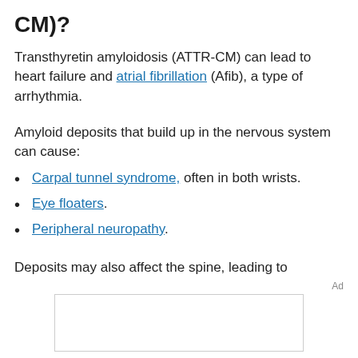CM)?
Transthyretin amyloidosis (ATTR-CM) can lead to heart failure and atrial fibrillation (Afib), a type of arrhythmia.
Amyloid deposits that build up in the nervous system can cause:
Carpal tunnel syndrome, often in both wrists.
Eye floaters.
Peripheral neuropathy.
Deposits may also affect the spine, leading to
[Figure (other): Advertisement placeholder box]